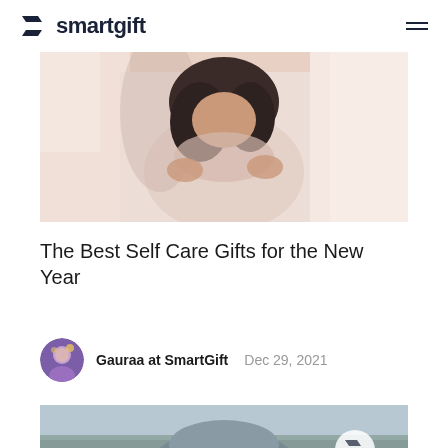smartgift
[Figure (photo): Woman wrapped in a light pink/beige blanket or robe, dark curly hair, cozy bedroom setting - hero image for self care article]
The Best Self Care Gifts for the New Year
See more
Gauraa at SmartGift   Dec 29, 2021
[Figure (photo): Partial image at bottom showing person wearing a grey winter hat outdoors, partial SmartGift logo watermark visible]